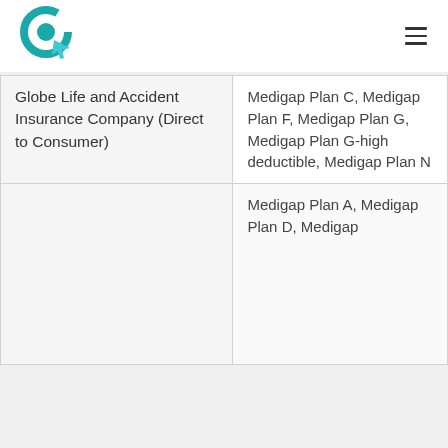Logo and navigation header
| Company | Plans |
| --- | --- |
| Globe Life and Accident Insurance Company (Direct to Consumer) | Medigap Plan C, Medigap Plan F, Medigap Plan G, Medigap Plan G-high deductible, Medigap Plan N |
|  | Medigap Plan A, Medigap Plan D, Medigap... |